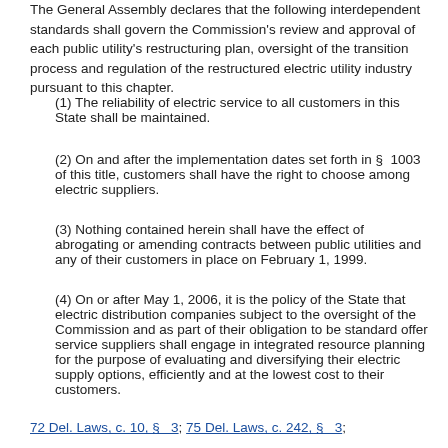The General Assembly declares that the following interdependent standards shall govern the Commission's review and approval of each public utility's restructuring plan, oversight of the transition process and regulation of the restructured electric utility industry pursuant to this chapter.
(1) The reliability of electric service to all customers in this State shall be maintained.
(2) On and after the implementation dates set forth in § 1003 of this title, customers shall have the right to choose among electric suppliers.
(3) Nothing contained herein shall have the effect of abrogating or amending contracts between public utilities and any of their customers in place on February 1, 1999.
(4) On or after May 1, 2006, it is the policy of the State that electric distribution companies subject to the oversight of the Commission and as part of their obligation to be standard offer service suppliers shall engage in integrated resource planning for the purpose of evaluating and diversifying their electric supply options, efficiently and at the lowest cost to their customers.
72 Del. Laws, c. 10, § 3;  75 Del. Laws, c. 242, § 3;